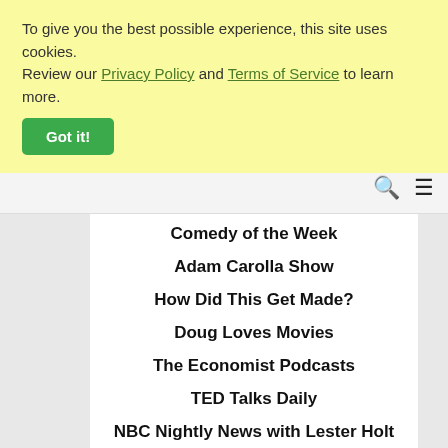To give you the best possible experience, this site uses cookies. Review our Privacy Policy and Terms of Service to learn more.
Got it!
Comedy of the Week
Adam Carolla Show
How Did This Get Made?
Doug Loves Movies
The Economist Podcasts
TED Talks Daily
NBC Nightly News with Lester Holt
CBC News: The World This Hour
Daily Boost Motivation and Coaching
Radiolab
Science Friday
This American Life
Snap Judgment